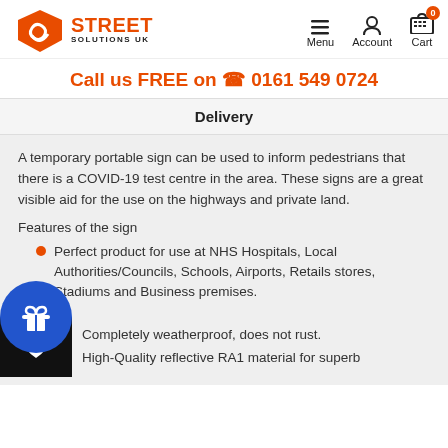[Figure (logo): Street Solutions UK logo with orange road/shield icon and orange STREET text with black SOLUTIONS UK text]
Menu  Account  Cart
Call us FREE on 📞 0161 549 0724
Delivery
A temporary portable sign can be used to inform pedestrians that there is a COVID-19 test centre in the area. These signs are a great visible aid for the use on the highways and private land.
Features of the sign
Perfect product for use at NHS Hospitals, Local Authorities/Councils, Schools, Airports, Retails stores, Stadiums and Business premises.
Completely weatherproof, does not rust.
High-Quality reflective RA1 material for superb